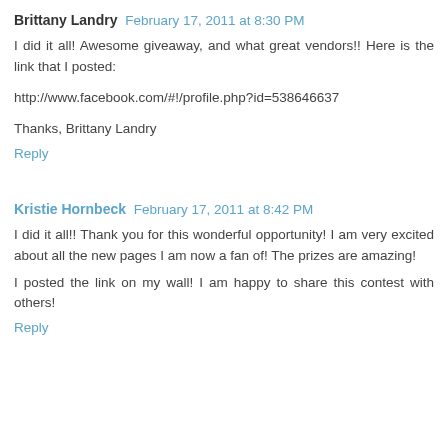Brittany Landry  February 17, 2011 at 8:30 PM
I did it all! Awesome giveaway, and what great vendors!! Here is the link that I posted:
http://www.facebook.com/#!/profile.php?id=538646637
Thanks, Brittany Landry
Reply
Kristie Hornbeck  February 17, 2011 at 8:42 PM
I did it all!! Thank you for this wonderful opportunity! I am very excited about all the new pages I am now a fan of! The prizes are amazing!
I posted the link on my wall! I am happy to share this contest with others!
Reply